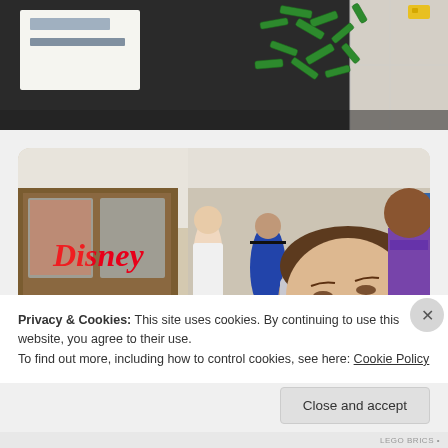[Figure (photo): Top portion of a photo showing green LEGO bricks scattered on a dark surface, with papers/cards visible at the left side and a tile floor at the right]
[Figure (photo): Children and adults at a LEGO building event inside a shopping mall with a Disney Store visible in the background. A boy in foreground looks down at something, with other children and parents around tables.]
Privacy & Cookies: This site uses cookies. By continuing to use this website, you agree to their use.
To find out more, including how to control cookies, see here: Cookie Policy
Close and accept